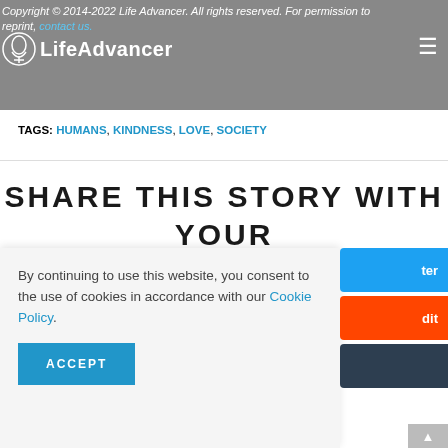Copyright © 2014-2022 Life Advancer. All rights reserved. For permission to reprint, contact us.
TAGS: HUMANS, KINDNESS, LOVE, SOCIETY
SHARE THIS STORY WITH YOUR FRIENDS!
By continuing to use this website, you consent to the use of cookies in accordance with our Cookie Policy.
ACCEPT